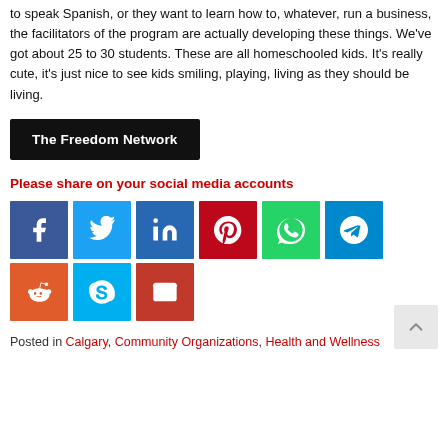to speak Spanish, or they want to learn how to, whatever, run a business, the facilitators of the program are actually developing these things. We've got about 25 to 30 students. These are all homeschooled kids. It's really cute, it's just nice to see kids smiling, playing, living as they should be living.
The Freedom Network
Please share on your social media accounts
[Figure (infographic): Row of social media share buttons: Facebook (dark blue), Twitter (light blue), LinkedIn (dark blue), Pinterest (dark red), WhatsApp (green), Telegram (blue); second row: Reddit (orange), Skype (light blue), Email (dark red)]
Posted in Calgary, Community Organizations, Health and Wellness